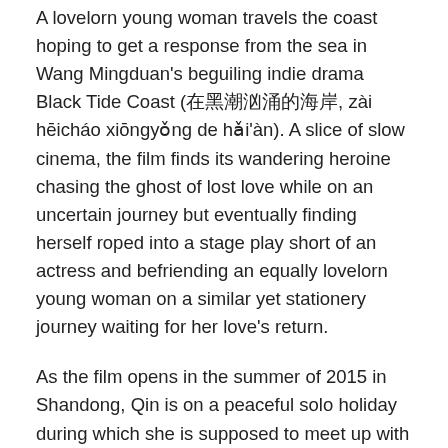A lovelorn young woman travels the coast hoping to get a response from the sea in Wang Mingduan's beguiling indie drama Black Tide Coast (在黑潮汹涌的海岸, zài hēicháo xiōngyǒng de hǎi'àn). A slice of slow cinema, the film finds its wandering heroine chasing the ghost of lost love while on an uncertain journey but eventually finding herself roped into a stage play short of an actress and befriending an equally lovelorn young woman on a similar yet stationery journey waiting for her love's return.
As the film opens in the summer of 2015 in Shandong, Qin is on a peaceful solo holiday during which she is supposed to meet up with a friend only he never shows up, all that's left of him is a pair of glasses on the beach. Four years later she fetches up on the island of Hainan once again taking in the tourist sites but this time hanging out in a bar where they play classic movies from Taiwanese landmarks A Brighter Summer Day and The Boys from Fengkuei to the back catalogue of Eric Rohmer. After a while she is scouted to fill in for an actress who apparently has appendicitis in a surreal avant-garde play about a woman trapped in a strange place